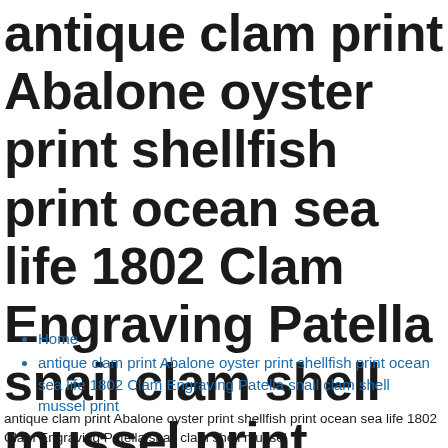antique clam print Abalone oyster print shellfish print ocean sea life 1802 Clam Engraving Patella snail clam shell mussel print
Home
antique clam print Abalone oyster print shellfish print ocean sea life 1802 Clam Engraving Patella snail clam shell mussel print
antique clam print Abalone oyster print shellfish print ocean sea life 1802 Clam Engraving Patella snail clam shell mussel